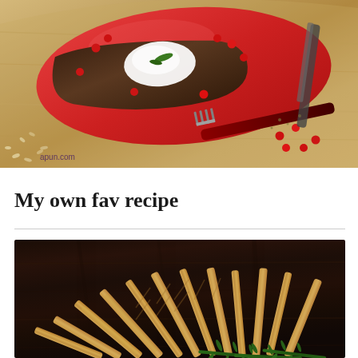[Figure (photo): Food photo showing a dish served on a red plate on a wooden cutting board, garnished with pomegranate seeds and white cream/yogurt, with a red-handled fork. Watermark text reads 'apun.com' in the lower left corner.]
My own fav recipe
[Figure (photo): Overhead photo of twisted breadsticks/grissini arranged on a dark wooden surface, accompanied by fresh rosemary sprigs.]